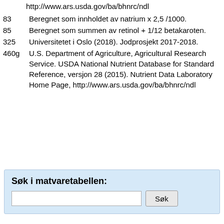http://www.ars.usda.gov/ba/bhnrc/ndl
83	Beregnet som innholdet av natrium x 2,5 /1000.
85	Beregnet som summen av retinol + 1/12 betakaroten.
325	Universitetet i Oslo (2018). Jodprosjekt 2017-2018.
460g	U.S. Department of Agriculture, Agricultural Research Service. USDA National Nutrient Database for Standard Reference, versjon 28 (2015). Nutrient Data Laboratory Home Page, http://www.ars.usda.gov/ba/bhnrc/ndl
Søk i matvaretabellen: